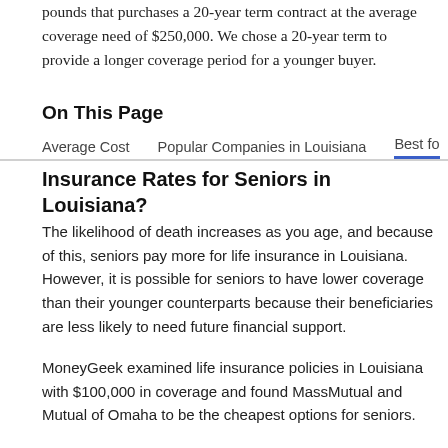pounds that purchases a 20-year term contract at the average coverage need of $250,000. We chose a 20-year term to provide a longer coverage period for a younger buyer.
On This Page
Average Cost   Popular Companies in Louisiana   Best fo
Insurance Rates for Seniors in Louisiana?
The likelihood of death increases as you age, and because of this, seniors pay more for life insurance in Louisiana. However, it is possible for seniors to have lower coverage than their younger counterparts because their beneficiaries are less likely to need future financial support.
MoneyGeek examined life insurance policies in Louisiana with $100,000 in coverage and found MassMutual and Mutual of Omaha to be the cheapest options for seniors.